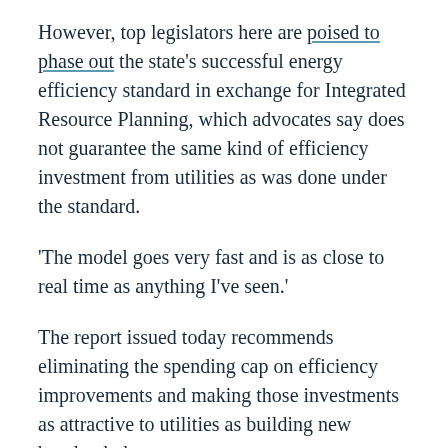However, top legislators here are poised to phase out the state's successful energy efficiency standard in exchange for Integrated Resource Planning, which advocates say does not guarantee the same kind of efficiency investment from utilities as was done under the standard.
'The model goes very fast and is as close to real time as anything I've seen.'
The report issued today recommends eliminating the spending cap on efficiency improvements and making those investments as attractive to utilities as building new baseload plants.